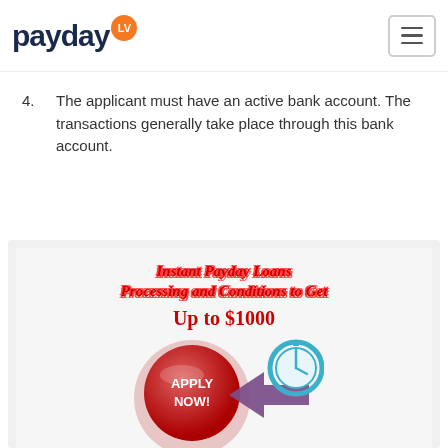payday LV
4.  The applicant must have an active bank account. The transactions generally take place through this bank account.
[Figure (infographic): Instant Payday Loans Processing and Conditions to Get Up to $1000 advertisement infographic with APPLY NOW button and clock/arrow icons]